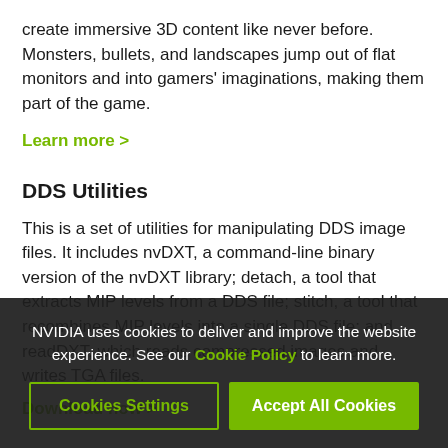create immersive 3D content like never before. Monsters, bullets, and landscapes jump out of flat monitors and into gamers' imaginations, making them part of the game.
Learn more >
DDS Utilities
This is a set of utilities for manipulating DDS image files. It includes nvDXT, a command-line binary version of the nvDXT library; detach, a tool that extracts MIP levels from a DDS file; stitch, a tool that recombines MIP levels into a single DDS file; and readDXT, which reads compressed images and writes TGA files.
Download now >
NVIDIA uses cookies to deliver and improve the website experience. See our Cookie Policy to learn more.
Cookies Settings
Accept All Cookies